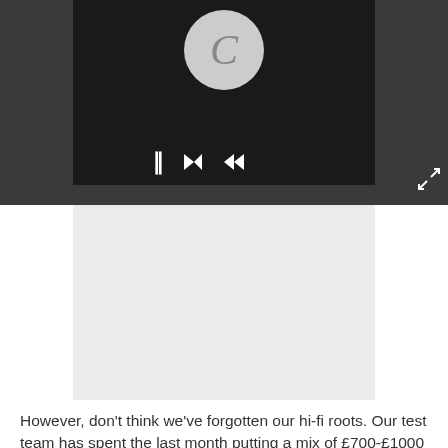[Figure (screenshot): Video player UI with dark grey background, play controls (pause button, rewind/arrows), circular 'C' logo placeholder, and a light grey content area below the player controls]
However, don't think we've forgotten our hi-fi roots. Our test team has spent the last month putting a mix of £700-£1000 standmount and floorstanding stereo speakers through their paces, and we've got exclusive First Tests of the new Kandy range from Roksan and